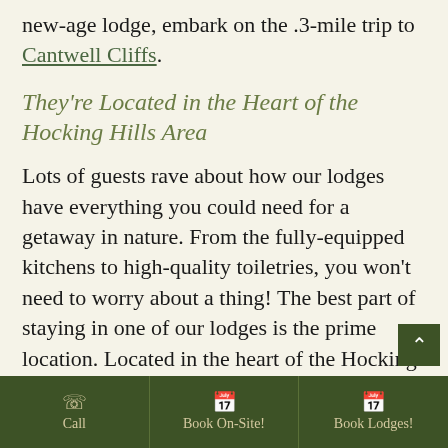new-age lodge, embark on the .3-mile trip to Cantwell Cliffs.
They're Located in the Heart of the Hocking Hills Area
Lots of guests rave about how our lodges have everything you could need for a getaway in nature. From the fully-equipped kitchens to high-quality toiletries, you won't need to worry about a thing! The best part of staying in one of our lodges is the prime location. Located in the heart of the Hocking Hills, each lodge puts you near incredible things to do at this Ohio state
Call | Book On-Site! | Book Lodges!